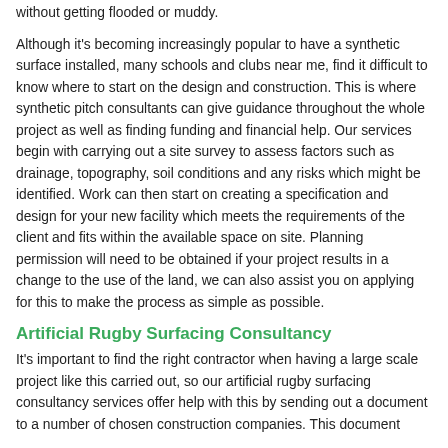without getting flooded or muddy.
Although it's becoming increasingly popular to have a synthetic surface installed, many schools and clubs near me, find it difficult to know where to start on the design and construction. This is where synthetic pitch consultants can give guidance throughout the whole project as well as finding funding and financial help. Our services begin with carrying out a site survey to assess factors such as drainage, topography, soil conditions and any risks which might be identified. Work can then start on creating a specification and design for your new facility which meets the requirements of the client and fits within the available space on site. Planning permission will need to be obtained if your project results in a change to the use of the land, we can also assist you on applying for this to make the process as simple as possible.
Artificial Rugby Surfacing Consultancy
It's important to find the right contractor when having a large scale project like this carried out, so our artificial rugby surfacing consultancy services offer help with this by sending out a document to a number of chosen construction companies. This document